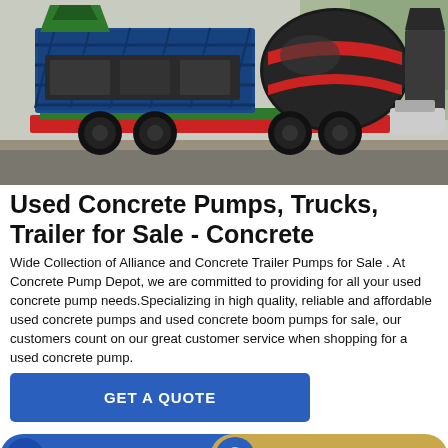[Figure (photo): Photograph of a used concrete pump truck/trailer — a large mobile concrete mixing and pumping machine on wheels, with black cylindrical drum, blue steel frame, red platform, green base, photographed outdoors on a road.]
Used Concrete Pumps, Trucks, Trailer for Sale - Concrete
Wide Collection of Alliance and Concrete Trailer Pumps for Sale . At Concrete Pump Depot, we are committed to providing for all your used concrete pump needs.Specializing in high quality, reliable and affordable used concrete pumps and used concrete boom pumps for sale, our customers count on our great customer service when shopping for a used concrete pump.
GET A QUOTE
Send Message
Inquiry Online